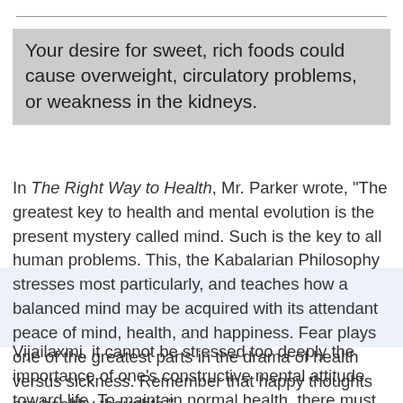Your desire for sweet, rich foods could cause overweight, circulatory problems, or weakness in the kidneys.
In The Right Way to Health, Mr. Parker wrote, "The greatest key to health and mental evolution is the present mystery called mind. Such is the key to all human problems. This, the Kabalarian Philosophy stresses most particularly, and teaches how a balanced mind may be acquired with its attendant peace of mind, health, and happiness. Fear plays one of the greatest parts in the drama of health versus sickness. Remember that happy thoughts are healthy thoughts."
Vijailaxmi, it cannot be stressed too deeply the importance of one's constructive mental attitude toward life. To maintain normal health, there must be relaxation